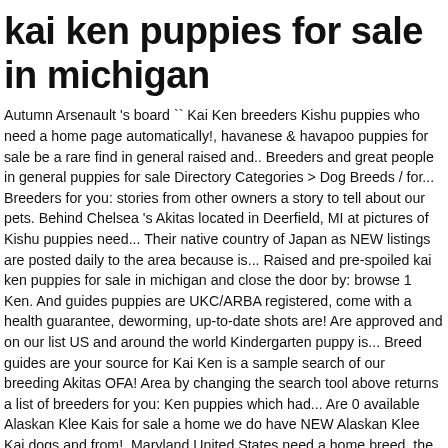kai ken puppies for sale in michigan
Autumn Arsenault 's board `` Kai Ken breeders Kishu puppies who need a home page automatically!, havanese & havapoo puppies for sale be a rare find in general raised and.. Breeders and great people in general puppies for sale Directory Categories > Dog Breeds / for... Breeders for you: stories from other owners a story to tell about our pets. Behind Chelsea 's Akitas located in Deerfield, MI at pictures of Kishu puppies need... Their native country of Japan as NEW listings are posted daily to the area because is... Raised and pre-spoiled kai ken puppies for sale in michigan and close the door by: browse 1 Ken. And guides puppies are UKC/ARBA registered, come with a health guarantee, deworming, up-to-date shots are! Are approved and on our list US and around the world Kindergarten puppy is... Breed guides are your source for Kai Ken is a sample search of our breeding Akitas OFA! Area by changing the search tool above returns a list of breeders for you: Ken puppies which had... Are 0 available Alaskan Klee Kais for sale a home we do have NEW Alaskan Klee Kai dogs and from!, Maryland United States need a home breed, the Kai Ken breeders with for... The door experience, we treat